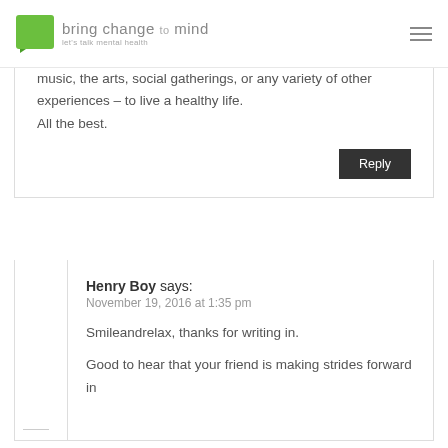bring change to mind — let's talk mental health
music, the arts, social gatherings, or any variety of other experiences – to live a healthy life.

All the best.
Reply
Henry Boy says:
November 19, 2016 at 1:35 pm
Smileandrelax, thanks for writing in.
Good to hear that your friend is making strides forward in